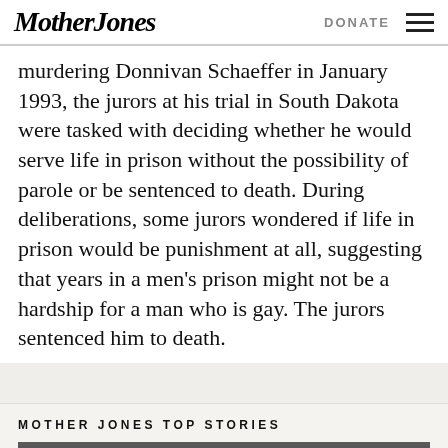Mother Jones | DONATE
murdering Donnivan Schaeffer in January 1993, the jurors at his trial in South Dakota were tasked with deciding whether he would serve life in prison without the possibility of parole or be sentenced to death. During deliberations, some jurors wondered if life in prison would be punishment at all, suggesting that years in a men's prison might not be a hardship for a man who is gay. The jurors sentenced him to death.
MOTHER JONES TOP STORIES
[Figure (photo): Photo of person wearing red Make America Great Again hat, crowd in background]